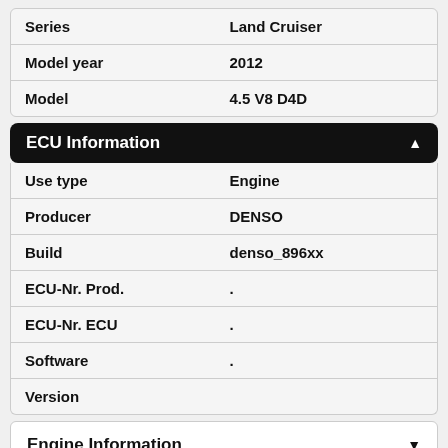| Series | Land Cruiser |
| Model year | 2012 |
| Model | 4.5 V8 D4D |
ECU Information
| Use type | Engine |
| Producer | DENSO |
| Build | denso_896xx |
| ECU-Nr. Prod. | . |
| ECU-Nr. ECU | . |
| Software | . |
| Version |  |
Engine Information